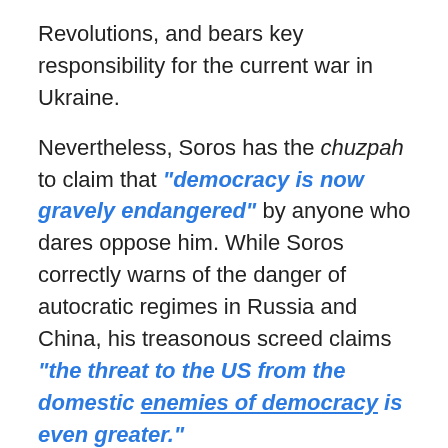Revolutions, and bears key responsibility for the current war in Ukraine.
Nevertheless, Soros has the chuzpah to claim that "democracy is now gravely endangered" by anyone who dares oppose him. While Soros correctly warns of the danger of autocratic regimes in Russia and China, his treasonous screed claims "the threat to the US from the domestic enemies of democracy is even greater."
TRENDING: "2000 Mules" Investigator Gregg Phillips Announces Investigative Team Has Identified Unique Devices from Inside the TCF Center During Late Night 2020 Election Ballot Dump
For the Hungarian-born naturalized citizen, these "domestic enemies" include the current Supreme Court, "which is dominated by far-right extremists, and